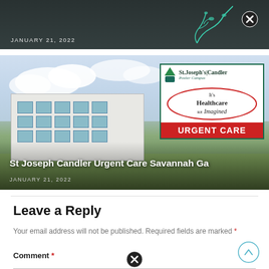[Figure (photo): Partial top strip of a previous article thumbnail with dark overlay, teal plant artwork, and date JANUARY 21, 2022]
[Figure (photo): Photo of St. Joseph's Candler Pooler Campus building exterior with a sign reading 'It's Healthcare Re Imagined' and 'URGENT CARE' in red. Article title overlaid at bottom.]
St Joseph Candler Urgent Care Savannah Ga
JANUARY 21, 2022
Leave a Reply
Your email address will not be published. Required fields are marked *
Comment *